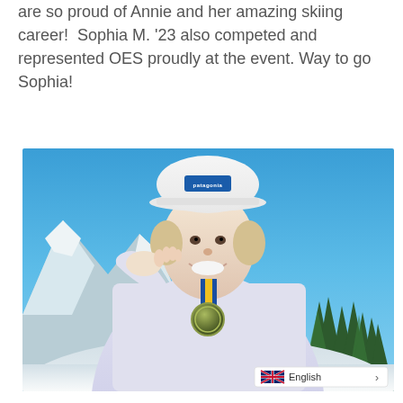are so proud of Annie and her amazing skiing career!  Sophia M. '23 also competed and represented OES proudly at the event. Way to go Sophia!
[Figure (photo): A young woman wearing a white Patagonia hat and white hoodie smiles while biting a gold medal with a blue and yellow ribbon, standing outdoors against a blue sky with snow-covered mountains and trees in the background.]